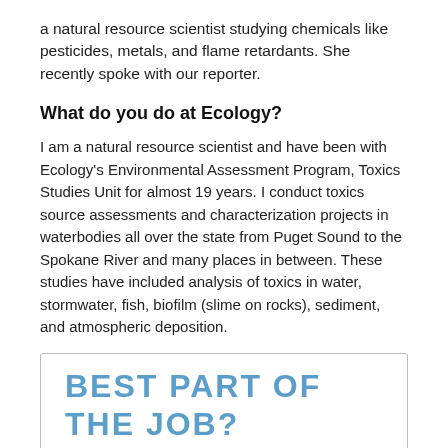a natural resource scientist studying chemicals like pesticides, metals, and flame retardants. She recently spoke with our reporter.
What do you do at Ecology?
I am a natural resource scientist and have been with Ecology's Environmental Assessment Program, Toxics Studies Unit for almost 19 years. I conduct toxics source assessments and characterization projects in waterbodies all over the state from Puget Sound to the Spokane River and many places in between. These studies have included analysis of toxics in water, stormwater, fish, biofilm (slime on rocks), sediment, and atmospheric deposition.
BEST PART OF THE JOB?